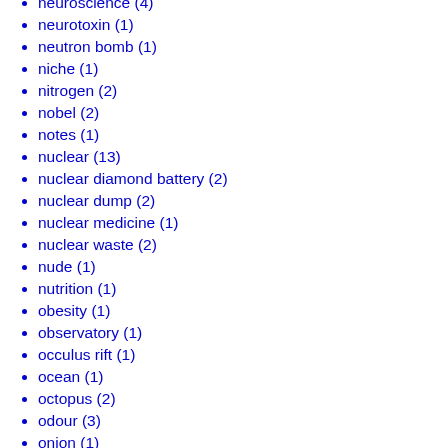neuroscience (4)
neurotoxin (1)
neutron bomb (1)
niche (1)
nitrogen (2)
nobel (2)
notes (1)
nuclear (13)
nuclear diamond battery (2)
nuclear dump (2)
nuclear medicine (1)
nuclear waste (2)
nude (1)
nutrition (1)
obesity (1)
observatory (1)
occulus rift (1)
ocean (1)
octopus (2)
odour (3)
onion (1)
oort cloud (1)
open access (1)
open source (2)
open source science (1)
optic (1)